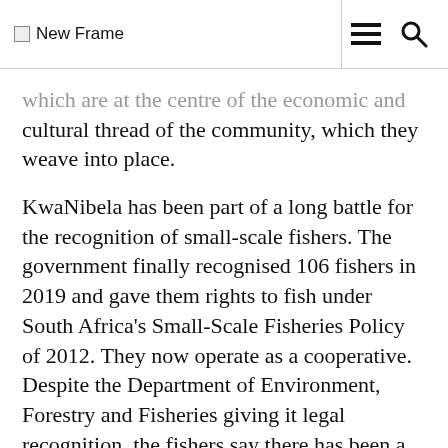New Frame
...which are at the centre of the economic and cultural thread of the community, which they weave into place.
KwaNibela has been part of a long battle for the recognition of small-scale fishers. The government finally recognised 106 fishers in 2019 and gave them rights to fish under South Africa's Small-Scale Fisheries Policy of 2012. They now operate as a cooperative. Despite the Department of Environment, Forestry and Fisheries giving it legal recognition, the fishers say there has been a lack of clarity regarding the rights to and regulations regarding the lake's...